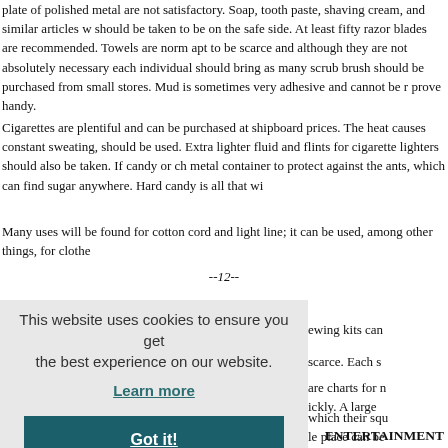plate of polished metal are not satisfactory. Soap, tooth paste, shaving cream, and similar articles w should be taken to be on the safe side. At least fifty razor blades are recommended. Towels are norm apt to be scarce and although they are not absolutely necessary each individual should bring as many scrub brush should be purchased from small stores. Mud is sometimes very adhesive and cannot be r prove handy.
Cigarettes are plentiful and can be purchased at shipboard prices. The heat causes constant sweating, should be used. Extra lighter fluid and flints for cigarette lighters should also be taken. If candy or ch metal container to protect against the ants, which can find sugar anywhere. Hard candy is all that wi
Many uses will be found for cotton cord and light line; it can be used, among other things, for clothe
--12--
ewing kits can
scarce. Each s
are charts for n ickly. A large
which their squ le place can be
[Figure (screenshot): Cookie consent overlay with message 'This website uses cookies to ensure you get the best experience on our website.', a 'Learn more' link, and a 'Got it!' button on dark teal background.]
ENTERTAINMENT